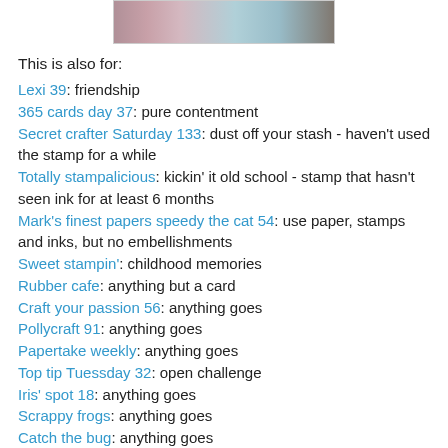[Figure (photo): Partial image of a craft/stamping project visible at the top of the page]
This is also for:
Lexi 39: friendship
365 cards day 37: pure contentment
Secret crafter Saturday 133: dust off your stash - haven't used the stamp for a while
Totally stampalicious: kickin' it old school - stamp that hasn't seen ink for at least 6 months
Mark's finest papers speedy the cat 54: use paper, stamps and inks, but no embellishments
Sweet stampin': childhood memories
Rubber cafe: anything but a card
Craft your passion 56: anything goes
Pollycraft 91: anything goes
Papertake weekly: anything goes
Top tip Tuessday 32: open challenge
Iris' spot 18: anything goes
Scrappy frogs: anything goes
Catch the bug: anything goes
ATC challenges 1: anything goes